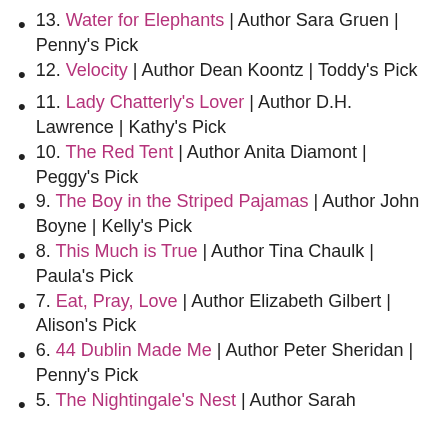13. Water for Elephants | Author Sara Gruen | Penny's Pick
12. Velocity | Author Dean Koontz | Toddy's Pick
11. Lady Chatterly's Lover | Author D.H. Lawrence | Kathy's Pick
10. The Red Tent | Author Anita Diamont | Peggy's Pick
9. The Boy in the Striped Pajamas | Author John Boyne | Kelly's Pick
8. This Much is True | Author Tina Chaulk | Paula's Pick
7. Eat, Pray, Love | Author Elizabeth Gilbert | Alison's Pick
6. 44 Dublin Made Me | Author Peter Sheridan | Penny's Pick
5. The Nightingale's Nest | Author Sarah ...